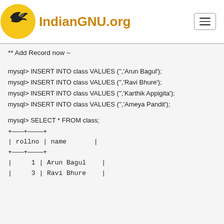IndianGNU.org
** Add Record now ~
mysql> INSERT INTO class VALUES ('','Arun Bagul');
mysql> INSERT INTO class VALUES ('','Ravi Bhure');
mysql> INSERT INTO class VALUES ('','Karthik Appigita');
mysql> INSERT INTO class VALUES ('','Ameya Pandit');
mysql> SELECT * FROM class;
+----+----------+
| rollno | name       |
+----+----------+
|    1 | Arun Bagul   |
|    3 | Ravi Bhure   |